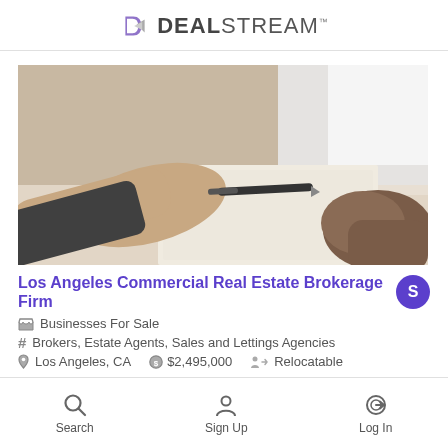DEALSTREAM™
[Figure (photo): Two people at a desk, one handing a pen and document to the other; business/real estate transaction scene.]
Los Angeles Commercial Real Estate Brokerage Firm
Businesses For Sale
Brokers, Estate Agents, Sales and Lettings Agencies
Los Angeles, CA   $2,495,000   Relocatable
This Los Angeles Company is a Boutique Brokerage Specializing in Lucrative Multi Family Brokerage, Investments & Advisory Capacities, $5 Trillion Los
Search   Sign Up   Log In